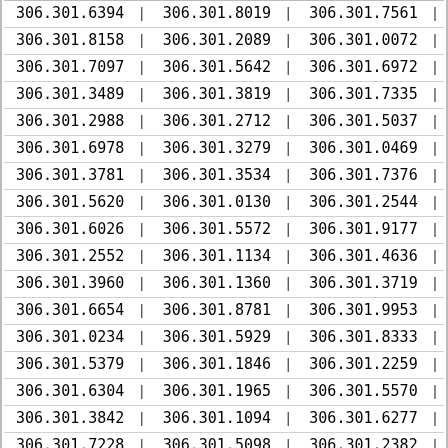| 306.301.6394 | | | 306.301.8019 | | | 306.301.7561 | | |
| 306.301.8158 | | | 306.301.2089 | | | 306.301.0072 | | |
| 306.301.7097 | | | 306.301.5642 | | | 306.301.6972 | | |
| 306.301.3489 | | | 306.301.3819 | | | 306.301.7335 | | |
| 306.301.2988 | | | 306.301.2712 | | | 306.301.5037 | | |
| 306.301.6978 | | | 306.301.3279 | | | 306.301.0469 | | |
| 306.301.3781 | | | 306.301.3534 | | | 306.301.7376 | | |
| 306.301.5620 | | | 306.301.0130 | | | 306.301.2544 | | |
| 306.301.6026 | | | 306.301.5572 | | | 306.301.9177 | | |
| 306.301.2552 | | | 306.301.1134 | | | 306.301.4636 | | |
| 306.301.3960 | | | 306.301.1360 | | | 306.301.3719 | | |
| 306.301.6654 | | | 306.301.8781 | | | 306.301.9953 | | |
| 306.301.0234 | | | 306.301.5929 | | | 306.301.8333 | | |
| 306.301.5379 | | | 306.301.1846 | | | 306.301.2259 | | |
| 306.301.6304 | | | 306.301.1965 | | | 306.301.5570 | | |
| 306.301.3842 | | | 306.301.1094 | | | 306.301.6277 | | |
| 306.301.7228 | | | 306.301.5098 | | | 306.301.2382 | | |
| 306.301.5284 | | | 306.301.5520 | | | 306.301.8143 | | |
| 306.301.6748 | | | 306.301.8818 | | | 306.301.4817 | | |